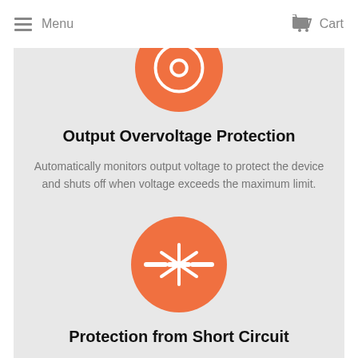Menu  Cart
[Figure (illustration): Orange circle icon with a circular outline symbol (overvoltage protection icon), partially cropped at top]
Output Overvoltage Protection
Automatically monitors output voltage to protect the device and shuts off when voltage exceeds the maximum limit.
[Figure (illustration): Orange circle icon with short circuit / spark symbol (radiating lines from center)]
Protection from Short Circuit
Instinctively protects of the motherboard and battery cell if shot circuit occurs.
[Figure (illustration): Orange circle icon, partially cropped at bottom of page]